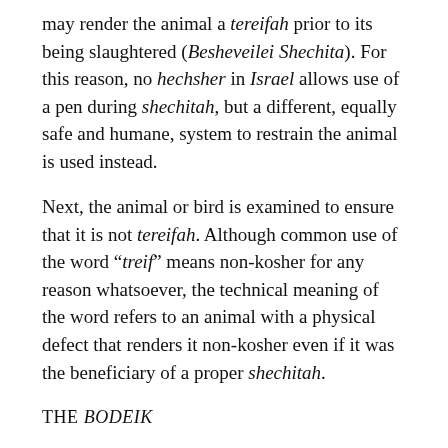may render the animal a tereifah prior to its being slaughtered (Besheveilei Shechita). For this reason, no hechsher in Israel allows use of a pen during shechitah, but a different, equally safe and humane, system to restrain the animal is used instead.
Next, the animal or bird is examined to ensure that it is not tereifah. Although common use of the word “treif” means non-kosher for any reason whatsoever, the technical meaning of the word refers to an animal with a physical defect that renders it non-kosher even if it was the beneficiary of a proper shechitah.
THE BODEIK
In a meat packing plant (beef, veal or lamb), the individual accountable to check for these defects is called a bodeik (pl. bodakim). Most bodakim are